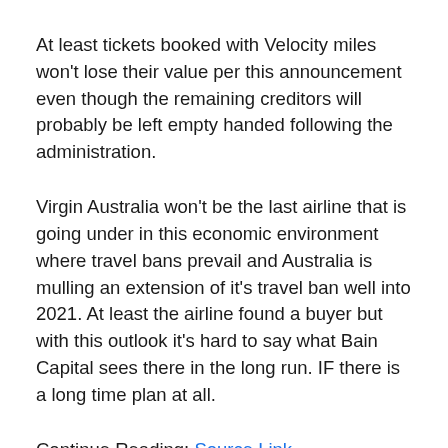At least tickets booked with Velocity miles won't lose their value per this announcement even though the remaining creditors will probably be left empty handed following the administration.
Virgin Australia won't be the last airline that is going under in this economic environment where travel bans prevail and Australia is mulling an extension of it's travel ban well into 2021. At least the airline found a buyer but with this outlook it's hard to say what Bain Capital sees there in the long run. IF there is a long time plan at all.
Continue Reading: Source Link